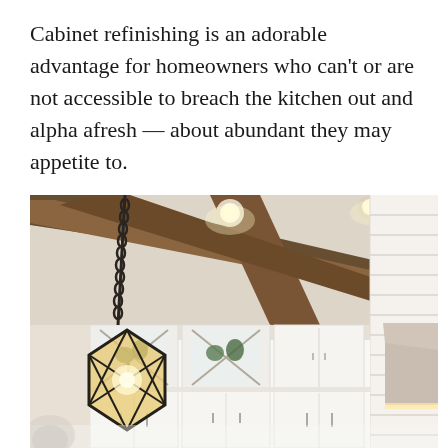Cabinet refinishing is an adorable advantage for homeowners who can't or are not accessible to breach the kitchen out and alpha afresh — about abundant they may appetite to.
[Figure (photo): Interior photo of a bright white kitchen showing white cabinetry with glass-front upper cabinets displaying decorative items, rustic wooden ceiling beams, recessed lighting, and a geometric pendant light hanging from a dark chain in the foreground left. A range hood is partially visible on the right side.]